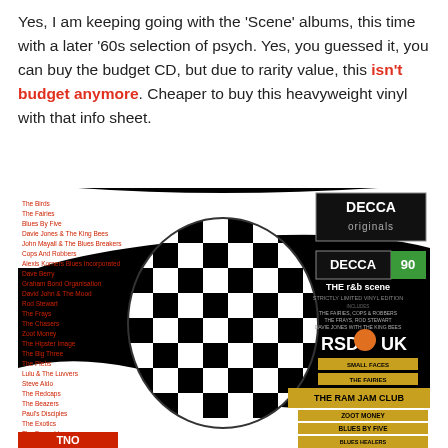Yes, I am keeping going with the 'Scene' albums, this time with a later '60s selection of psych. Yes, you guessed it, you can buy the budget CD, but due to rarity value, this isn't budget anymore. Cheaper to buy this heavyweight vinyl with that info sheet.
[Figure (photo): Album cover for 'The R&B Scene' on Decca Originals / Decca 90, a strictly limited vinyl edition. Black background with large mod-style '60s graphic design. Left side lists artists in red text including The Birds, The Fairies, Blues By Five, Davie Jones & The King Bees, John Mayall & The Blues Breakers, Cops And Robbers, Alexis Korners Blues Incorporated, Dave Berry, Graham Bond Organisation, David John & The Mood, Rod Stewart, The Frays, The Chasers, Zoot Money, The Hipster Image, The Big Three, The Plebs, Lulu & The Luvvers, Steve Aldo, The Redcaps, The Beazers, Paul's Disciples, The Exotics, The Emeralds. Right side shows DECCA originals logo (white on black), DECCA 90 logo, RSD UK logo (orange). Center has a large black and white checkerboard pattern. Album labels visible showing Small Faces, The Fairies, Ram Jam Club, Zoot Money, Blues By Five, Cops & Robbers, Blues Healers.]